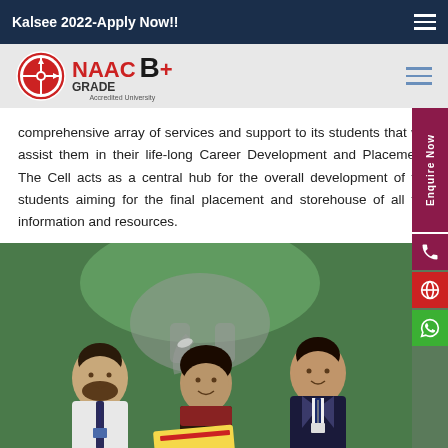Kalsee 2022-Apply Now!!
[Figure (logo): NAAC Grade B+ Accredited University logo with circular emblem]
comprehensive array of services and support to its students that will assist them in their life-long Career Development and Placement. The Cell acts as a central hub for the overall development of the students aiming for the final placement and storehouse of all the information and resources.
[Figure (photo): Three university students smiling outdoors near elephant statue and palm trees, two males and one female wearing formal attire with ID cards]